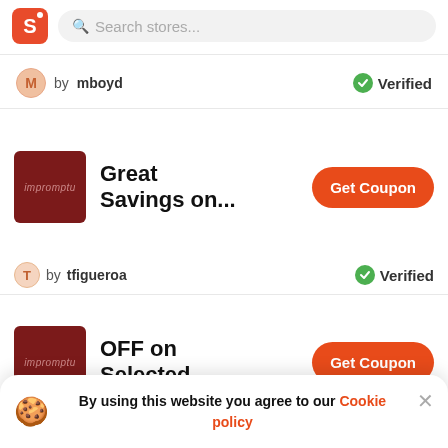S  Search stores...
by mboyd  Verified
Great Savings on...
by tfigueroa  Verified
OFF on Selected...
By using this website you agree to our Cookie policy